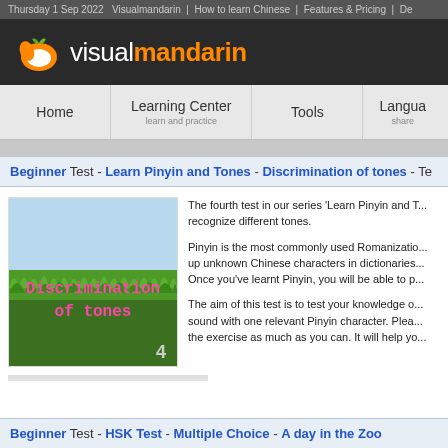Thursday 1 Sep 2022   Visualmandarin  |  How to learn Chinese  |  Features & Pricing  |  De
[Figure (logo): Visual Mandarin logo — orange bird/leaf icon on dark background with wordmark 'visualmandarin']
Home | Learning Center (learn and practice) | Tools | Language (share)
Beginner Test - Learn Pinyin and Tones - Discrimination of tones - Te
[Figure (photo): Image of green grass with sky background, pink text 'Discrimination of tones' overlaid, number 4 in bottom right corner]
The fourth test in our series 'Learn Pinyin and T... recognize different tones.

Pinyin is the most commonly used Romanizatio... up unknown Chinese characters in dictionaries... Once you've learnt Pinyin, you will be able to p...

The aim of this test is to test your knowledge o... sound with one relevant Pinyin character. Plea... the exercise as much as you can. It will help yo...
Beginner Test - HSK Test - Multiple Choice - A day in the Zoo